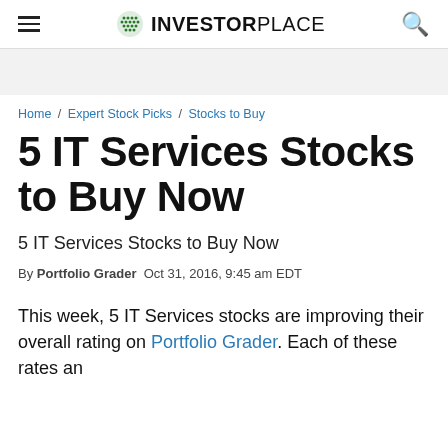INVESTORPLACE
Home / Expert Stock Picks / Stocks to Buy
5 IT Services Stocks to Buy Now
5 IT Services Stocks to Buy Now
By Portfolio Grader  Oct 31, 2016, 9:45 am EDT
This week, 5 IT Services stocks are improving their overall rating on Portfolio Grader. Each of these rates an